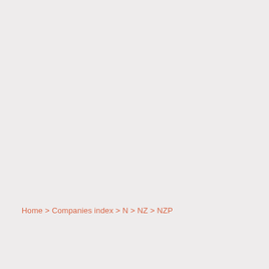Home > Companies index > N > NZ > NZP